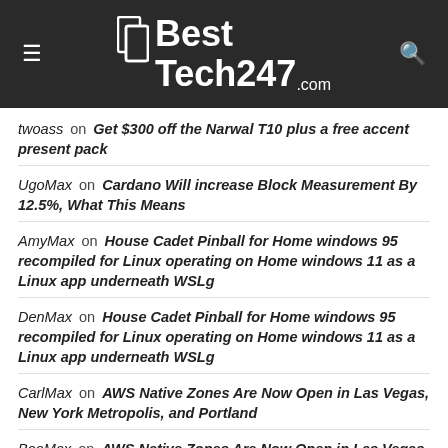BestTech247.com
twoass on Get $300 off the Narwal T10 plus a free accent present pack
UgoMax on Cardano Will increase Block Measurement By 12.5%, What This Means
AmyMax on House Cadet Pinball for Home windows 95 recompiled for Linux operating on Home windows 11 as a Linux app underneath WSLg
DenMax on House Cadet Pinball for Home windows 95 recompiled for Linux operating on Home windows 11 as a Linux app underneath WSLg
CarlMax on AWS Native Zones Are Now Open in Las Vegas, New York Metropolis, and Portland
BooMax on AWS Native Zones Are Now Open in Las Vegas, New York Metropolis, and Portland